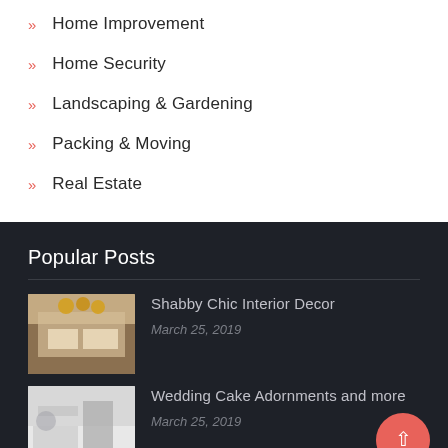Home Improvement
Home Security
Landscaping & Gardening
Packing & Moving
Real Estate
Popular Posts
[Figure (photo): Kitchen interior with white chairs and wooden table]
Shabby Chic Interior Decor
March 25, 2019
[Figure (photo): Modern white interior room]
Wedding Cake Adornments and more
March 25, 2019